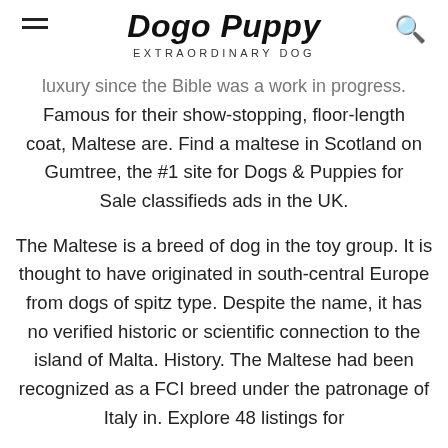Dogo Puppy EXTRAORDINARY DOG
luxury since the Bible was a work in progress. Famous for their show-stopping, floor-length coat, Maltese are. Find a maltese in Scotland on Gumtree, the #1 site for Dogs & Puppies for Sale classifieds ads in the UK.
The Maltese is a breed of dog in the toy group. It is thought to have originated in south-central Europe from dogs of spitz type. Despite the name, it has no verified historic or scientific connection to the island of Malta. History. The Maltese had been recognized as a FCI breed under the patronage of Italy in. Explore 48 listings for